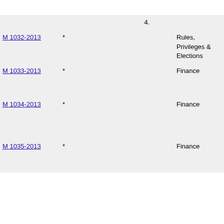| Motion |  |  | Committee | Description |
| --- | --- | --- | --- | --- |
|  |  |  |  | Lappin. |
| 4. |  |  |  |  |
| M 1032-2013 | * |  | Rules, Privileges & Elections | Andrews, Irving, Conflict of Interest Board. |
| M 1033-2013 | * |  | Finance | Submitted Preliminary Expense Budget FY'14. |
| M 1034-2013 | * |  | Finance | Submitted Financial Detail and Summary Book, Volume II for FY 2013-20 |
| M 1035-2013 | * |  | Finance | Submitted Geographic Reports Expense Budget FY'1... |